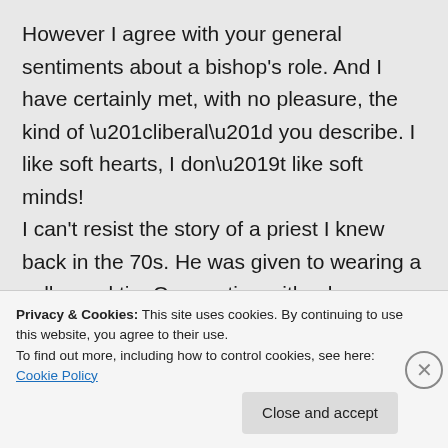However I agree with your general sentiments about a bishop's role. And I have certainly met, with no pleasure, the kind of “liberal” you describe. I like soft hearts, I don’t like soft minds! I can't resist the story of a priest I knew back in the 70s. He was given to wearing a collar and tie. On meeting with a lay committee he was surprised to find that they had all turned their shirts back to front. They explained that that was the only way
Privacy & Cookies: This site uses cookies. By continuing to use this website, you agree to their use.
To find out more, including how to control cookies, see here: Cookie Policy